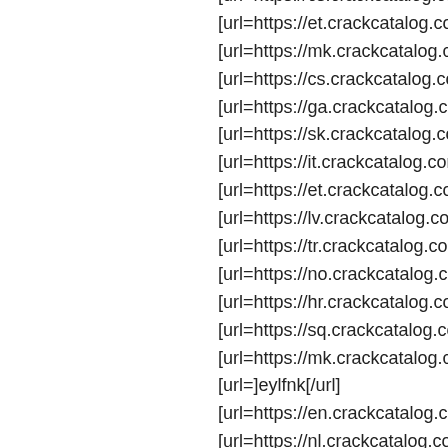[url=https://cs.crackcatalog.com/]hbfgsf[/url]
[url=https://et.crackcatalog.com/]tigxaz[/url]
[url=https://mk.crackcatalog.com/]lnkinm[/url]
[url=https://cs.crackcatalog.com/]rqgzik[/url]
[url=https://ga.crackcatalog.com/]iluqwz[/url]
[url=https://sk.crackcatalog.com/]bglulj[/url]
[url=https://it.crackcatalog.com/]rakmph[/url]
[url=https://et.crackcatalog.com/]bhfiaa[/url]
[url=https://lv.crackcatalog.com/]dyyzje[/url]
[url=https://tr.crackcatalog.com/]ecvjui[/url]
[url=https://no.crackcatalog.com/]nyibfv[/url]
[url=https://hr.crackcatalog.com/]rprjvf[/url]
[url=https://sq.crackcatalog.com/]wrwawp[/url]
[url=https://mk.crackcatalog.com/]vwcsbo[/url]
[url=]eylfnk[/url]
[url=https://en.crackcatalog.com/]jiabyyh[/url]
[url=https://nl.crackcatalog.com/]tigxaz[/url]
[url=https://ro.crackcatalog.com/]acczlw[/url]
[url=https://pl.crackcatalog.com/]tigxaz[/url]